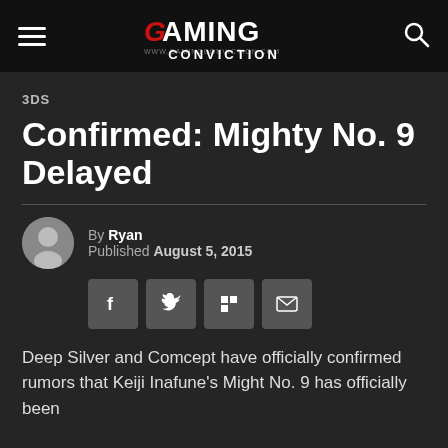Gaming Conviction
3DS
Confirmed: Mighty No. 9 Delayed
By Ryan  Published August 5, 2015
[Figure (infographic): Social share buttons: Facebook, Twitter, Flipboard, Email]
Deep Silver and Comcept have officially confirmed rumors that Keiji Inafune's Might No. 9 has officially been